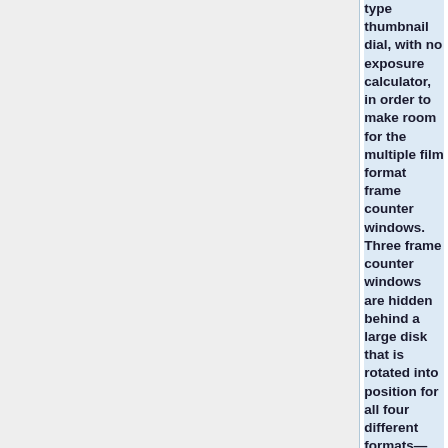type thumbnail dial, with no exposure calculator, in order to make room for the multiple film format frame counter windows. Three frame counter windows are hidden behind a large disk that is rotated into position for all four different formats—the 828 and 6×6 formats use the same window— and includes an